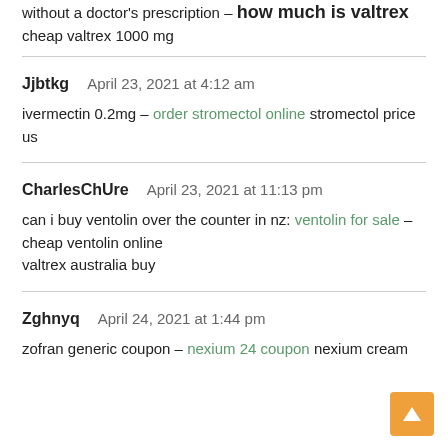without a doctor's prescription – how much is valtrex cheap valtrex 1000 mg
Jjbtkg  April 23, 2021 at 4:12 am
ivermectin 0.2mg – order stromectol online stromectol price us
CharlesChUre  April 23, 2021 at 11:13 pm
can i buy ventolin over the counter in nz: ventolin for sale – cheap ventolin online
valtrex australia buy
Zghnyq  April 24, 2021 at 1:44 pm
zofran generic coupon – nexium 24 coupon nexium cream